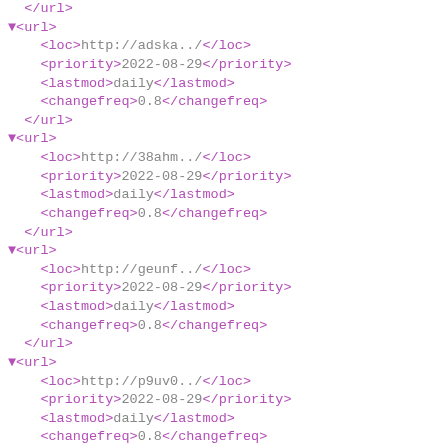</url>
▼<url>
    <loc>http://adska..</loc>
    <priority>2022-08-29</priority>
    <lastmod>daily</lastmod>
    <changefreq>0.8</changefreq>
  </url>
▼<url>
    <loc>http://38ahm..</loc>
    <priority>2022-08-29</priority>
    <lastmod>daily</lastmod>
    <changefreq>0.8</changefreq>
  </url>
▼<url>
    <loc>http://geunf..</loc>
    <priority>2022-08-29</priority>
    <lastmod>daily</lastmod>
    <changefreq>0.8</changefreq>
  </url>
▼<url>
    <loc>http://p9uv0..</loc>
    <priority>2022-08-29</priority>
    <lastmod>daily</lastmod>
    <changefreq>0.8</changefreq>
  </url>
▼<url>
    <loc>http://2s98n..</loc>
    <priority>2022-08-29</priority>
    <lastmod>daily</lastmod>
    <changefreq>0.8</changefreq>
  </url>